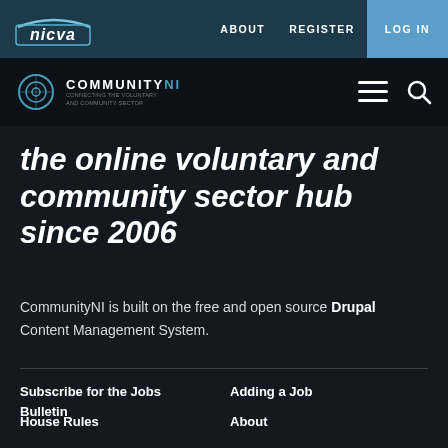NICVA | ABOUT  REGISTER  LOG IN
[Figure (logo): CommunityNI logo with circular icon, hamburger menu and search icon]
the online voluntary and community sector hub since 2006
CommunityNI is built on the free and open source Drupal Content Management System.
Subscribe for the Jobs Bulletin
Adding a Job
About
House Rules
COVID-19 Help
Privacy Notice
Frequently Asked Questions
Content License and sharing